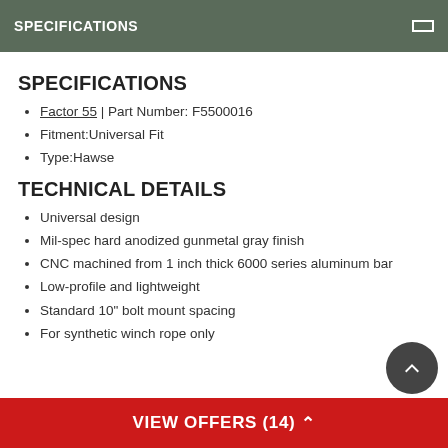SPECIFICATIONS
SPECIFICATIONS
Factor 55 | Part Number: F5500016
Fitment:Universal Fit
Type:Hawse
TECHNICAL DETAILS
Universal design
Mil-spec hard anodized gunmetal gray finish
CNC machined from 1 inch thick 6000 series aluminum bar
Low-profile and lightweight
Standard 10" bolt mount spacing
For synthetic winch rope only
VIEW OFFERS (14)